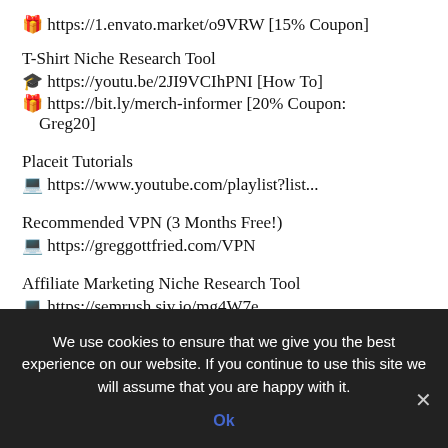🎁 https://1.envato.market/o9VRW [15% Coupon]
T-Shirt Niche Research Tool
🎓 https://youtu.be/2JI9VCIhPNI [How To]
🎁 https://bit.ly/merch-informer [20% Coupon: Greg20]
Placeit Tutorials
💻 https://www.youtube.com/playlist?list...
Recommended VPN (3 Months Free!)
💻 https://greggottfried.com/VPN
Affiliate Marketing Niche Research Tool
💻 https://semrush.siv.io/mg4W7e
We use cookies to ensure that we give you the best experience on our website. If you continue to use this site we will assume that you are happy with it.